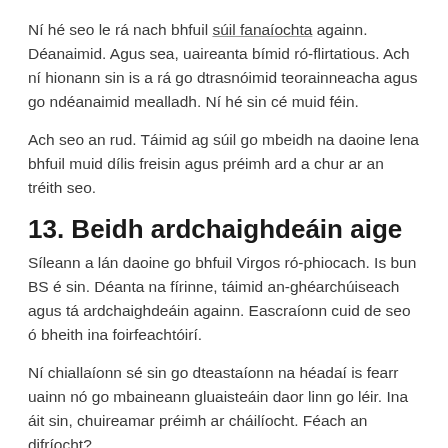Ní hé seo le rá nach bhfuil súil fanaíochta againn. Déanaimid. Agus sea, uaireanta bímid ró-flirtatious. Ach ní hionann sin is a rá go dtrasnóimid teorainneacha agus go ndéanaimid mealladh. Ní hé sin cé muid féin.
Ach seo an rud. Táimid ag súil go mbeidh na daoine lena bhfuil muid dílis freisin agus préimh ard a chur ar an tréith seo.
13. Beidh ardchaighdeáin aige
Síleann a lán daoine go bhfuil Virgos ró-phiocach. Is bun BS é sin. Déanta na fírinne, táimid an-ghéarchúiseach agus tá ardchaighdeáin againn. Eascraíonn cuid de seo ó bheith ina foirfeachtóirí.
Ní chiallaíonn sé sin go dteastaíonn na héadaí is fearr uainn nó go mbaineann gluaisteáin daor linn go léir. Ina áit sin, chuireamar préimh ar cháilíocht. Féach an difríocht?